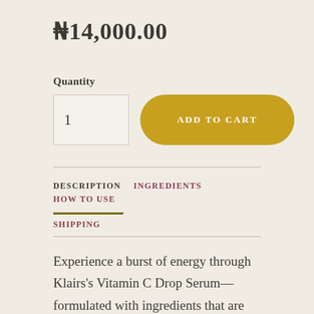₦14,000.00
Quantity
1
ADD TO CART
DESCRIPTION    INGREDIENTS    HOW TO USE
SHIPPING
Experience a burst of energy through Klairs's Vitamin C Drop Serum—formulated with ingredients that are brightening, rejuvenating, but non-irritating. It contains just the right